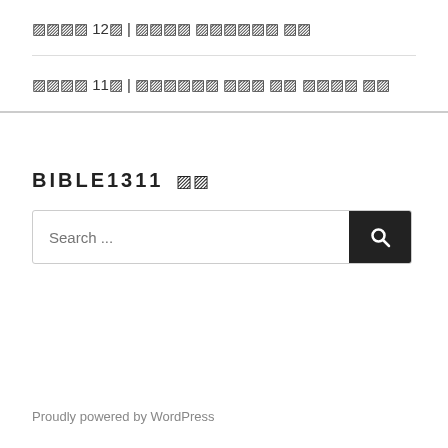□□□□ 12□ | □□□□ □□□□□□ □□
□□□□ 11□ | □□□□□□ □□□ □□ □□□□ □□
BIBLE1311 □□
Search ...
Proudly powered by WordPress